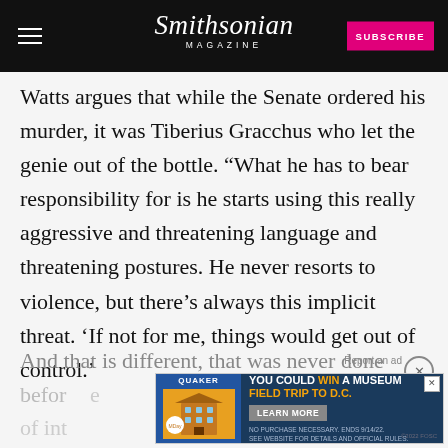Smithsonian MAGAZINE
Watts argues that while the Senate ordered his murder, it was Tiberius Gracchus who let the genie out of the bottle. “What he has to bear responsibility for is he starts using this really aggressive and threatening language and threatening postures. He never resorts to violence, but there’s always this implicit threat. ‘If not for me, things would get out of control.’
And that is different, that was never done before... pool of int... r
thinkers say once it’s there, even if others choos...
[Figure (screenshot): Advertisement: Quaker Museum Day promotion. Text reads 'YOU COULD WIN A MUSEUM FIELD TRIP TO D.C.' with 'LEARN MORE' button. Fine print: 'NO PURCHASE NECESSARY. ENDS 9/14/22. SEE WEBSITE FOR DETAILS AND OFFICIAL RULES.' Copyright ©2022 FOSC.]